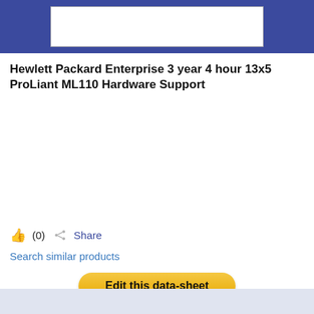[Figure (logo): White rectangle logo placeholder on dark blue header bar]
Hewlett Packard Enterprise 3 year 4 hour 13x5 ProLiant ML110 Hardware Support
👍 (0)  Share
Search similar products
Edit this data-sheet